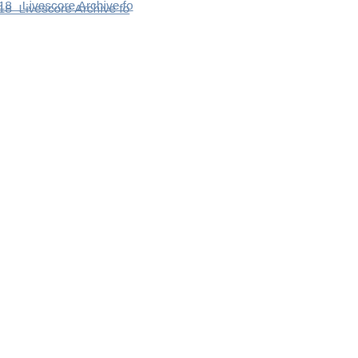Livescore Archive for 17.08.2018  Livescore Archive for 16.08.2018  Livescore Archive for 13.08.2018  Livescore Archive for ... Livescore Archive for 09.08.2018  Livescore Archive for 06.08.2018  Livescore Archive for 05.08.2018  Livescore Archive for 02.08.2018  Livescore Archive for ... Livescore Archive for 31.07.2018  Livescore Archive for 28.07.2018  Livescore Archive for 27.07.2018  Livescore Archive for 24.07.2018  Livescore Archive for ... Livescore Archive for 20.07.2018  Livescore Archive for 17.07.2018  Livescore Archive for 16.07.2018  Livescore Archive for 13.07.2018  Livescore Archive for ... Livescore Archive for 09.07.2018  Livescore Archive for 06.07.2018  Livescore Archive for 05.07.2018  Livescore Archive for 02.07.2018  Livescore Archive for ... Livescore Archive for 30.06.2018  Livescore Archive for 27.06.2018  Livescore Archive for 26.06.2018  Livescore Archive for 23.06.2018  Livescore Archive for ... Livescore Archive for 19.06.2018  Livescore Archive for 16.06.2018  Livescore Archive for 15.06.2018  Livescore Archive for 12.06.2018  Livescore Archive for ... Livescore Archive for 08.06.2018  Livescore Archive for 05.06.2018  Livescore Archive for 04.06.2018  Livescore Archive for 01.06.2018  Livescore Archive for 31.05.2018  Livescore Archive for 28.05.2018  Livescore Archive for 27.05.2018